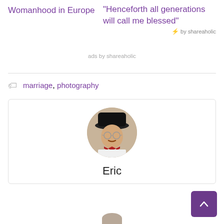Womanhood in Europe
"Henceforth all generations will call me blessed"
⚡ by shareaholic
ads by shareaholic
marriage, photography
[Figure (photo): Circular profile photo of a man named Eric wearing a black hat, glasses, and a plaid bow tie]
Eric